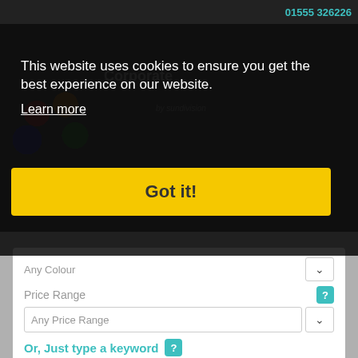01555 326226
This website uses cookies to ensure you get the best experience on our website.
Learn more
Got it!
Any Colour
Price Range
Any Price Range
Or, Just type a keyword
Reset Search Fields
Show Ideas
Quote Request List